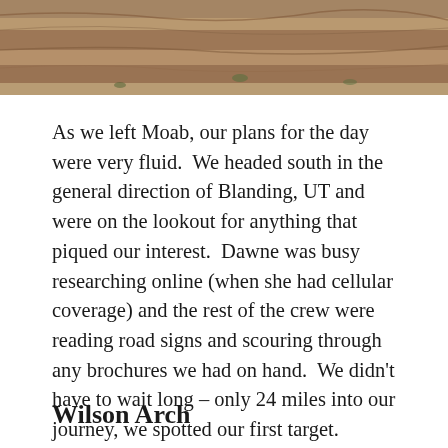[Figure (photo): Partial view of layered sandstone rock formations, likely in the Moab/Utah desert area. The image is cropped showing only the top portion of the rock face with reddish-brown and tan layers.]
As we left Moab, our plans for the day were very fluid.  We headed south in the general direction of Blanding, UT and were on the lookout for anything that piqued our interest.  Dawne was busy researching online (when she had cellular coverage) and the rest of the crew were reading road signs and scouring through any brochures we had on hand.  We didn't have to wait long – only 24 miles into our journey, we spotted our first target.
Wilson Arch